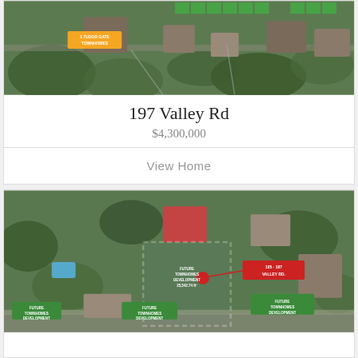[Figure (map): Aerial satellite map showing 1 Tudor Gate Townhomes location with orange label overlay and green highlighted areas]
197 Valley Rd
$4,300,000
View Home
[Figure (map): Aerial satellite map showing 195-197 Valley Rd with future townhomes development area (25,542.74 ft²) outlined in dashed white, red label for 195-197 Valley Rd, and multiple green labels for Future Townhomes Development]